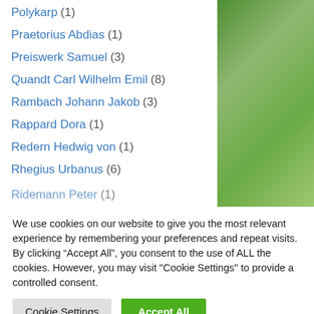Polykarp (1)
Praetorius Abdias (1)
Preiswerk Samuel (3)
Quandt Carl Wilhelm Emil (8)
Rambach Johann Jakob (3)
Rappard Dora (1)
Redern Hedwig von (1)
Rhegius Urbanus (6)
Ridemann Peter (1)
We use cookies on our website to give you the most relevant experience by remembering your preferences and repeat visits. By clicking “Accept All”, you consent to the use of ALL the cookies. However, you may visit "Cookie Settings" to provide a controlled consent.